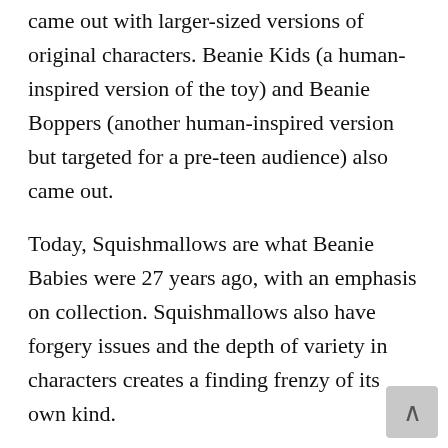came out with larger-sized versions of original characters. Beanie Kids (a human-inspired version of the toy) and Beanie Boppers (another human-inspired version but targeted for a pre-teen audience) also came out.
Today, Squishmallows are what Beanie Babies were 27 years ago, with an emphasis on collection. Squishmallows also have forgery issues and the depth of variety in characters creates a finding frenzy of its own kind.
However, for a fad that many believed would set them up for life, Ty Beanie Babies, except for a specific few originals, never quite lived up to the monetary hype. Most today aren't worth much more than their original selling point yea But that doesn't take away from the impact they had